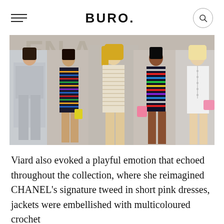BURO.
[Figure (photo): Fashion runway photo showing five female models walking on a runway, wearing various Chanel outfits including striped dresses, tweed mini dresses, and white jacket sets with colourful accessories. Large letters visible in the background backdrop.]
Viard also evoked a playful emotion that echoed throughout the collection, where she reimagined CHANEL's signature tweed in short pink dresses, jackets were embellished with multicoloured crochet